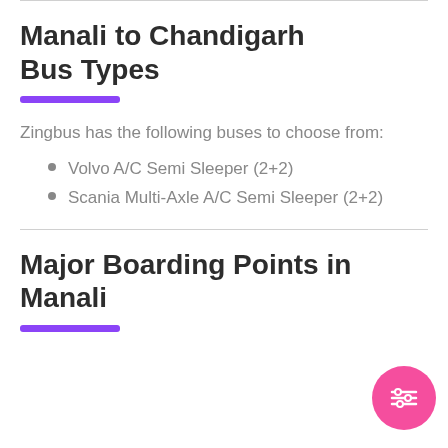Manali to Chandigarh Bus Types
Zingbus has the following buses to choose from:
Volvo A/C Semi Sleeper (2+2)
Scania Multi-Axle A/C Semi Sleeper (2+2)
Major Boarding Points in Manali